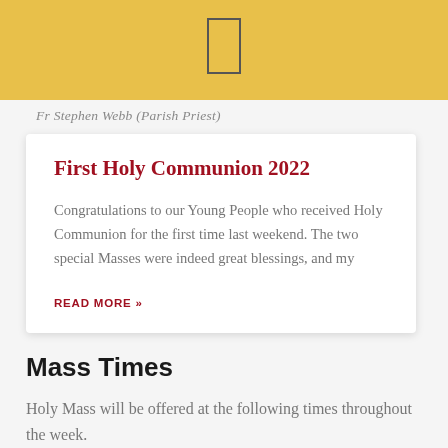Fr Stephen Webb (Parish Priest)
First Holy Communion 2022
Congratulations to our Young People who received Holy Communion for the first time last weekend. The two special Masses were indeed great blessings, and my
READ MORE »
Mass Times
Holy Mass will be offered at the following times throughout the week.